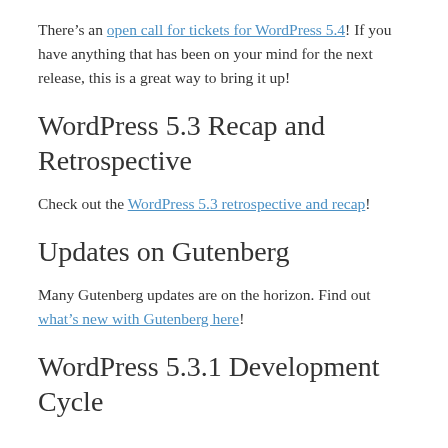There's an open call for tickets for WordPress 5.4! If you have anything that has been on your mind for the next release, this is a great way to bring it up!
WordPress 5.3 Recap and Retrospective
Check out the WordPress 5.3 retrospective and recap!
Updates on Gutenberg
Many Gutenberg updates are on the horizon. Find out what's new with Gutenberg here!
WordPress 5.3.1 Development Cycle